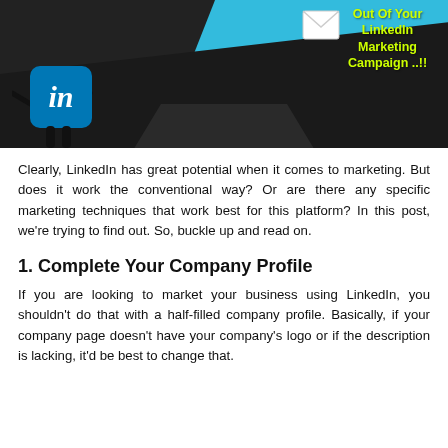[Figure (illustration): LinkedIn marketing campaign banner image: dark background with a LinkedIn logo character (animated box with arms and legs) walking on a dark road, with cyan/blue sky background. Text overlay in yellow-green reads 'Out Of Your LinkedIn Marketing Campaign ..!!']
Clearly, LinkedIn has great potential when it comes to marketing. But does it work the conventional way? Or are there any specific marketing techniques that work best for this platform? In this post, we're trying to find out. So, buckle up and read on.
1. Complete Your Company Profile
If you are looking to market your business using LinkedIn, you shouldn't do that with a half-filled company profile. Basically, if your company page doesn't have your company's logo or if the description is lacking, it'd be best to change that.